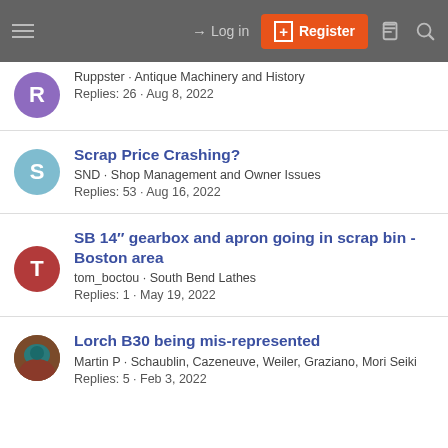Log in | Register
Ruppster · Antique Machinery and History
Replies: 26 · Aug 8, 2022
Scrap Price Crashing?
SND · Shop Management and Owner Issues
Replies: 53 · Aug 16, 2022
SB 14" gearbox and apron going in scrap bin - Boston area
tom_boctou · South Bend Lathes
Replies: 1 · May 19, 2022
Lorch B30 being mis-represented
Martin P · Schaublin, Cazeneuve, Weiler, Graziano, Mori Seiki
Replies: 5 · Feb 3, 2022